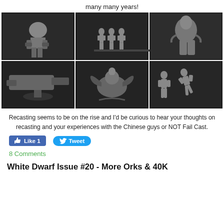many many years!
[Figure (photo): 3x2 grid of six black-and-white photos of unpainted miniature figurines including a robot/mech, group of infantry, a large creature/beast, a weapon/gun on stand, a winged monster with rider, and two dynamic action figures]
Recasting seems to be on the rise and I'd be curious to hear your thoughts on recasting and your experiences with the Chinese guys or NOT Fail Cast.
Like 1   Tweet
8 Comments
White Dwarf Issue #20 - More Orks & 40K